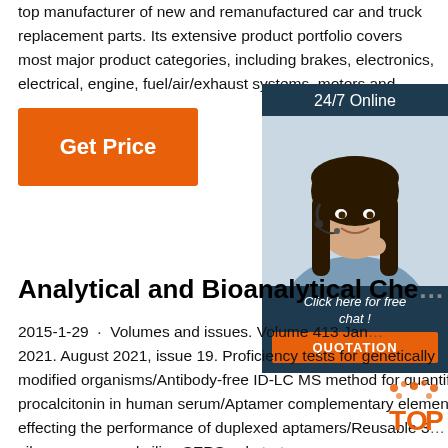top manufacturer of new and remanufactured car and truck replacement parts. Its extensive product portfolio covers most major product categories, including brakes, electronics, electrical, engine, fuel/air/exhaust systems, motors and …
[Figure (other): Orange 'Get Price' button]
[Figure (other): 24/7 Online chat widget with a woman customer service agent photo, 'Click here for free chat!' text, and a QUOTATION orange button]
Analytical and Bioanalytical Che…
2015-1-29 · Volumes and issues. Volume 413 Jan … 2021. August 2021, issue 19. Proficiency tests for genetically modified organisms/Antibody-free ID-LC MS method for quantifying procalcitonin in human serum/Aptamer complementary element effecting the performance of duplexed aptamers/Reusable 3… silver superposed silica SERS substrate